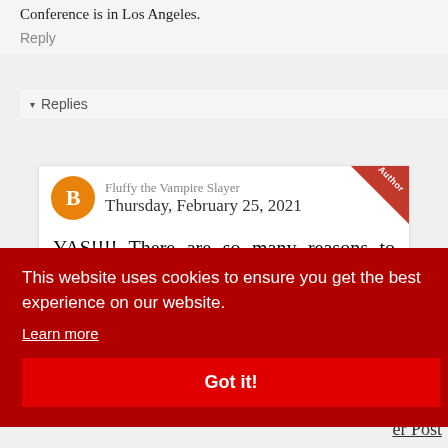Conference is in Los Angeles.
Reply
▾ Replies
Fluffy the Vampire Slayer
Thursday, February 25, 2021
YAS!!!! There are so many reasons to love him.
This website uses cookies to ensure you get the best experience on our website.
Learn more
Got it!
er Post